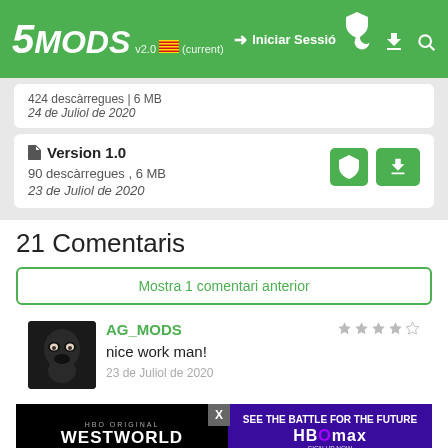5MODS v2.0 (current) | Iniciar Sessió
424 descàrregues | 6 MB
24 de Juliol de 2020
Version 1.0
90 descàrregues , 6 MB
23 de Juliol de 2020
21 Comentaris
Mostra 1 comentari anterior
AG_MODS
nice work man!
23 de Juliol de 2020
William Halvard
e from
[Figure (screenshot): HBO Original Westworld Now Streaming advertisement with HBO Max sign up now, plans start at $9.99/month]